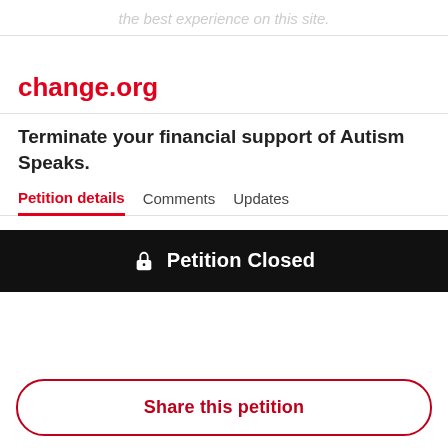the best experience on this site.
change.org
Terminate your financial support of Autism Speaks.
Petition details   Comments   Updates
🔒 Petition Closed
Share this petition